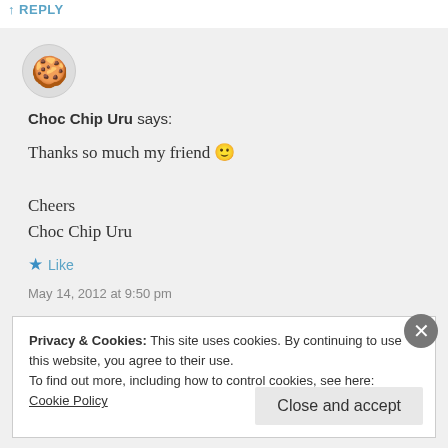↑ REPLY
[Figure (illustration): Circular avatar icon showing a chocolate chip cookie]
Choc Chip Uru says:
Thanks so much my friend 🙂

Cheers
Choc Chip Uru
★ Like
May 14, 2012 at 9:50 pm
Privacy & Cookies: This site uses cookies. By continuing to use this website, you agree to their use.
To find out more, including how to control cookies, see here:
Cookie Policy
Close and accept